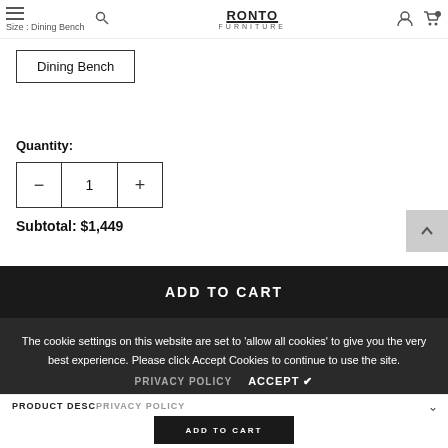Size : Dining Bench | RONTO FURNITURE
Dining Bench
Quantity:
— 1 +
Subtotal: $1,449
ADD TO CART
The cookie settings on this website are set to 'allow all cookies' to give you the very best experience. Please click Accept Cookies to continue to use the site.
PRIVACY POLICY   ACCEPT ✓
PRODUCT DESC
ADD TO CART